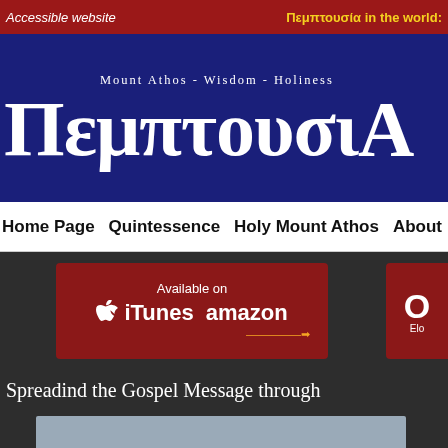Accessible website | Πεμπτουσία in the world:
[Figure (logo): Pemptousia website logo: Mount Athos - Wisdom - Holiness / ΠΕΜΠΤΟΥΣΙΑ in white text on dark navy background]
Home Page  Quintessence  Holy Mount Athos  About
[Figure (infographic): Available on iTunes amazon banner on dark background, with partial O and Elo text on right side]
Spreadind the Gospel Message through